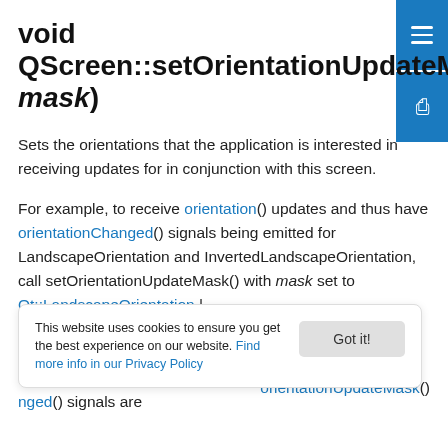void QScreen::setOrientationUpdateMask(Qt::ScreenOrientations mask)
Sets the orientations that the application is interested in receiving updates for in conjunction with this screen.
For example, to receive orientation() updates and thus have orientationChanged() signals being emitted for LandscapeOrientation and InvertedLandscapeOrientation, call setOrientationUpdateMask() with mask set to Qt::LandscapeOrientation | Qt::InvertedLandscapeOrientation.
nged() signals are
This website uses cookies to ensure you get the best experience on our website. Find more info in our Privacy Policy
orientationUpdated()